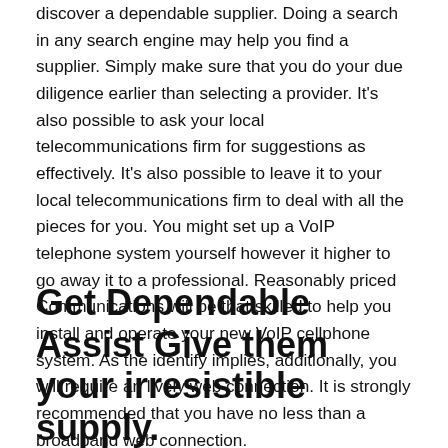discover a dependable supplier. Doing a search in any search engine may help you find a supplier. Simply make sure that you do your due diligence earlier than selecting a provider. It's also possible to ask your local telecommunications firm for suggestions as effectively. It's also possible to leave it to your local telecommunications firm to deal with all the pieces for you. You might set up a VoIP telephone system yourself however it higher to go away it to a professional. Reasonably priced Communications will be that skilled to help you install and operate your new VoIP cellphone system. As the identify implies, additionally, you will require an lively web connection. It is strongly recommended that you have no less than a broadband web connection.
Get Dependable Assist Give them your irresistible supply.